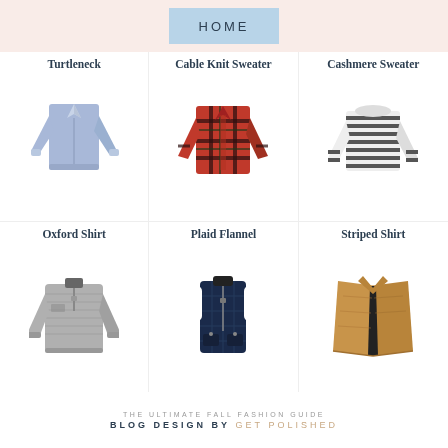HOME
Turtleneck
[Figure (photo): Light blue Oxford/button-down long sleeve shirt]
Cable Knit Sweater
[Figure (photo): Red and black plaid flannel long sleeve shirt]
Cashmere Sweater
[Figure (photo): Navy and white horizontal striped long sleeve shirt]
Oxford Shirt
[Figure (photo): Gray fleece quarter-zip pullover]
Plaid Flannel
[Figure (photo): Navy blue quilted puffer vest]
Striped Shirt
[Figure (photo): Camel/tan wrap cape coat]
THE ULTIMATE FALL FASHION GUIDE
BLOG DESIGN BY GET POLISHED